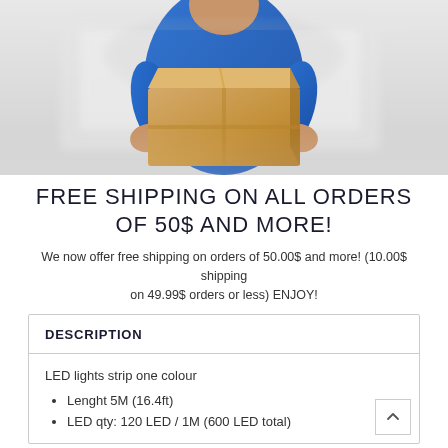[Figure (photo): Delivery person in blue shirt holding a large cardboard box, with a white van in the background.]
FREE SHIPPING ON ALL ORDERS OF 50$ AND MORE!
We now offer free shipping on orders of 50.00$ and more! (10.00$ shipping on 49.99$ orders or less) ENJOY!
DESCRIPTION
LED lights strip one colour
Lenght 5M (16.4ft)
LED qty: 120 LED / 1M (600 LED total)